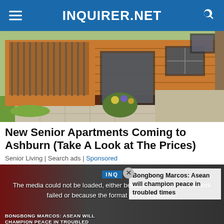INQUIRER.NET
[Figure (photo): Exterior photo of a wooden-clad house with a porch, steps, and garden flowers, green lawn in foreground]
New Senior Apartments Coming to Ashburn (Take A Look at The Prices)
Senior Living | Search ads | Sponsored
[Figure (screenshot): Video player showing Bongbong Marcos ASEAN article with media error overlay and close button]
The media could not be loaded, either because the server or network failed or because the format is not supported.
Bongbong Marcos: Asean will champion peace in troubled times